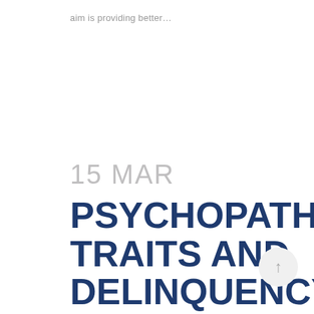aim is providing better…
15 MAR
PSYCHOPATHIC TRAITS AND DELINQUENCY IN JUVENILES